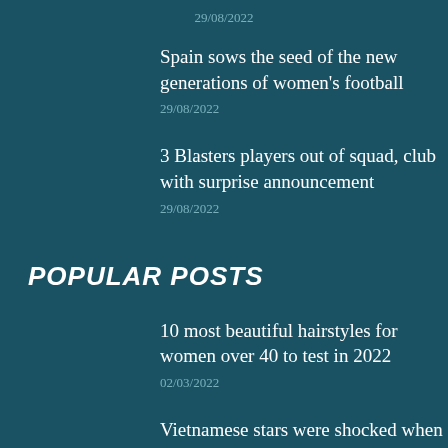29/08/2022
Spain sows the seed of the new generations of women's football
29/08/2022
3 Blasters players out of squad, club with surprise announcement
29/08/2022
POPULAR POSTS
10 most beautiful hairstyles for women over 40 to test in 2022
02/03/2022
Vietnamese stars were shocked when they heard that Phi Nhung died because…